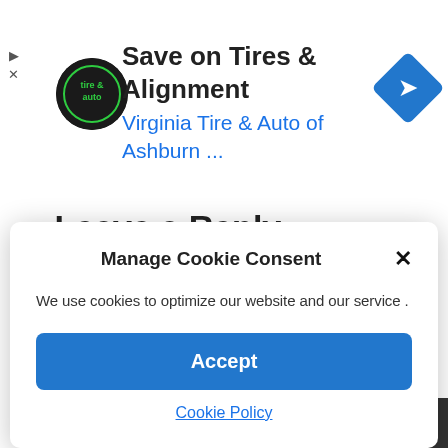[Figure (screenshot): Advertisement banner for Virginia Tire & Auto of Ashburn showing logo, headline 'Save on Tires & Alignment', subtext 'Virginia Tire & Auto of Ashburn ...', and a blue navigation diamond icon. Ad controls (play/close) on the left.]
Leave a Reply
[Figure (screenshot): Cookie consent modal dialog with title 'Manage Cookie Consent', close X button, body text 'We use cookies to optimize our website and our service .', blue Accept button, and Cookie Policy link.]
We use cookies to optimize our website and our service .
Accept
Cookie Policy
Name*
Email*